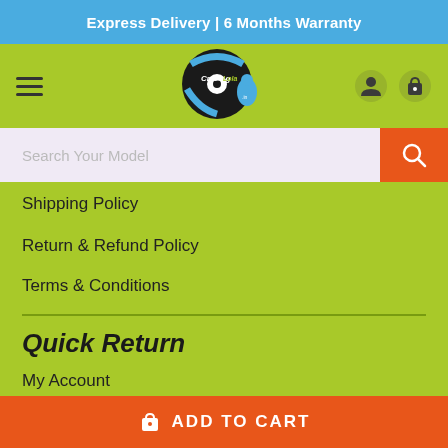Express Delivery | 6 Months Warranty
[Figure (logo): CrazyLola.in logo — circular logo with black vinyl record background, blue and white design elements, text 'CrazyLola.in' in stylized font]
Search Your Model
Shipping Policy
Return & Refund Policy
Terms & Conditions
Quick Return
My Account
Return Policy
ADD TO CART